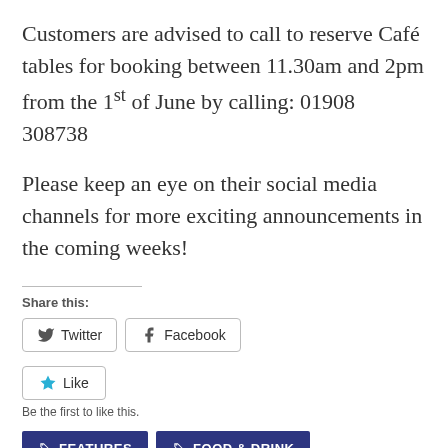Customers are advised to call to reserve Café tables for booking between 11.30am and 2pm from the 1st of June by calling: 01908 308738
Please keep an eye on their social media channels for more exciting announcements in the coming weeks!
Share this:
Twitter  Facebook
Like
Be the first to like this.
FEATURES  FOOD & DRINK